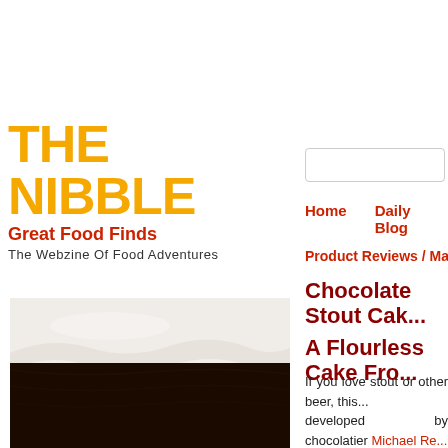[Figure (logo): THE NIBBLE logo in large orange bold letters with taglines 'Great Food Finds' in red and 'The Webzine Of Food Adventures' in dark text]
[Figure (screenshot): Search box input field]
Home    Daily Blog
Product Reviews / Main Nibb...
Chocolate Stout Cak... A Flourless Cake Fro...
[Figure (photo): Close-up photo of a chocolate cake slice with white frosting/cream on top, dark chocolate body]
If you love stout or other beer, this... developed by chocolatier Michael Re... cake, it's not too rich or heavy. Inste... interesting complexity and flavor.